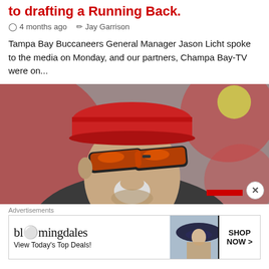to drafting a Running Back.
4 months ago   Jay Garrison
Tampa Bay Buccaneers General Manager Jason Licht spoke to the media on Monday, and our partners, Champa Bay-TV were on...
[Figure (photo): Close-up photo of a middle-aged man with a white goatee wearing a red flat cap and dark sunglasses with orange-red reflective lenses, in front of a blurred red background.]
Advertisements
[Figure (other): Bloomingdale's advertisement banner with text 'bloomingdales View Today's Top Deals!' and 'SHOP NOW >' button, and image of woman in large hat.]